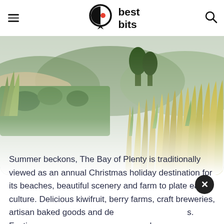best bits
[Figure (photo): Aerial/ground-level view of Bay of Plenty landscape with green grass, native flax plants, trees, and a sandy beach or coastal area visible in the background. Lush green and golden vegetation in the foreground with a fading white overlay at the bottom.]
Summer beckons, The Bay of Plenty is traditionally viewed as an annual Christmas holiday destination for its beaches, beautiful scenery and farm to plate eating culture. Delicious kiwifruit, berry farms, craft breweries, artisan baked goods and de[...] s. Festiva[...] happy